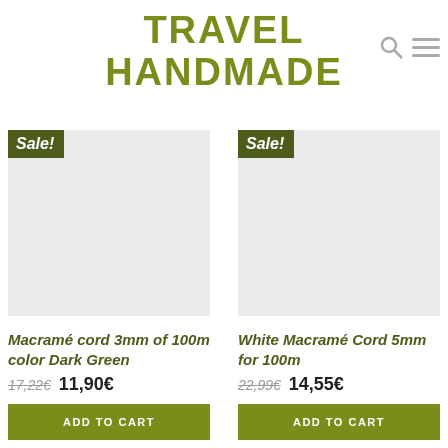TRAVEL HANDMADE
[Figure (screenshot): Product card 1: Macramé cord 3mm of 100m color Dark Green, sale badge, grey product image placeholder, old price 17,22€ struck through, new price 11,90€, Add to Cart button]
Macramé cord 3mm of 100m color Dark Green
17,22€  11,90€
[Figure (screenshot): Product card 2: White Macramé Cord 5mm for 100m, sale badge, grey product image placeholder, old price 22,99€ struck through, new price 14,55€, Add to Cart button]
White Macramé Cord 5mm for 100m
22,99€  14,55€